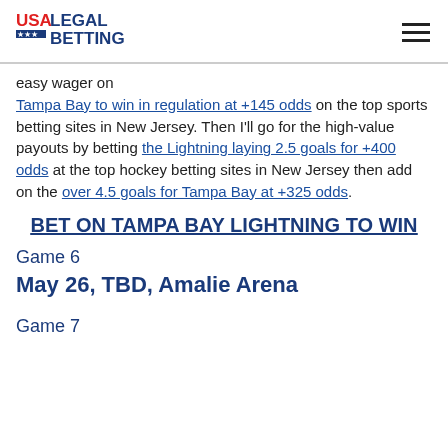USA LEGAL BETTING
easy wager on Tampa Bay to win in regulation at +145 odds on the top sports betting sites in New Jersey. Then I'll go for the high-value payouts by betting the Lightning laying 2.5 goals for +400 odds at the top hockey betting sites in New Jersey then add on the over 4.5 goals for Tampa Bay at +325 odds.
BET ON TAMPA BAY LIGHTNING TO WIN
Game 6
May 26, TBD, Amalie Arena
Game 7